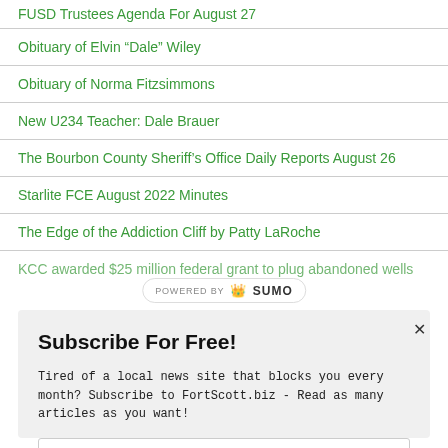FUSD Trustees Agenda For August 27
Obituary of Elvin “Dale” Wiley
Obituary of Norma Fitzsimmons
New U234 Teacher: Dale Brauer
The Bourbon County Sheriff’s Office Daily Reports August 26
Starlite FCE August 2022 Minutes
The Edge of the Addiction Cliff by Patty LaRoche
KCC awarded $25 million federal grant to plug abandoned wells
[Figure (logo): POWERED BY SUMO logo badge]
Subscribe For Free!
Tired of a local news site that blocks you every month? Subscribe to FortScott.biz - Read as many articles as you want!
Enter your email address
SUBSCRIBE NOW